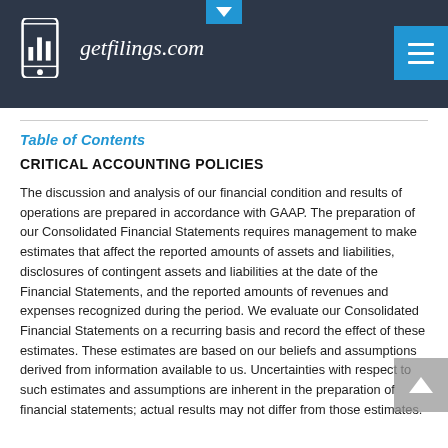getfilings.com
Table of Contents
CRITICAL ACCOUNTING POLICIES
The discussion and analysis of our financial condition and results of operations are prepared in accordance with GAAP. The preparation of our Consolidated Financial Statements requires management to make estimates that affect the reported amounts of assets and liabilities, disclosures of contingent assets and liabilities at the date of the Financial Statements, and the reported amounts of revenues and expenses recognized during the period. We evaluate our Consolidated Financial Statements on a recurring basis and record the effect of these estimates. These estimates are based on our beliefs and assumptions derived from information available to us. Uncertainties with respect to such estimates and assumptions are inherent in the preparation of financial statements; actual results may not differ from those estimates.